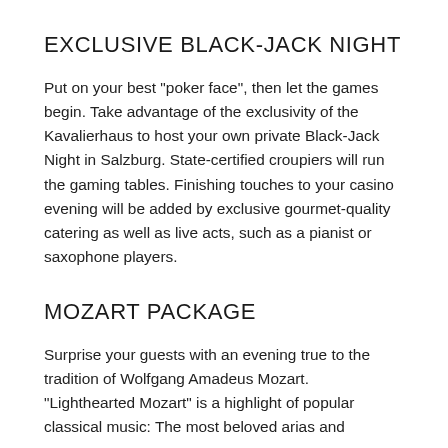EXCLUSIVE BLACK-JACK NIGHT
Put on your best "poker face", then let the games begin. Take advantage of the exclusivity of the Kavalierhaus to host your own private Black-Jack Night in Salzburg. State-certified croupiers will run the gaming tables. Finishing touches to your casino evening will be added by exclusive gourmet-quality catering as well as live acts, such as a pianist or saxophone players.
MOZART PACKAGE
Surprise your guests with an evening true to the tradition of Wolfgang Amadeus Mozart. "Lighthearted Mozart" is a highlight of popular classical music: The most beloved arias and